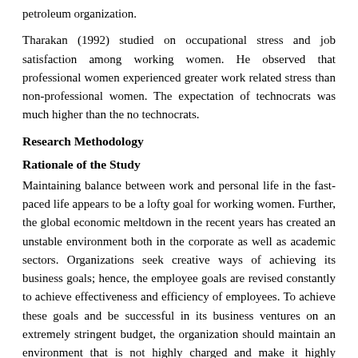petroleum organization.
Tharakan (1992) studied on occupational stress and job satisfaction among working women. He observed that professional women experienced greater work related stress than non-professional women. The expectation of technocrats was much higher than the no technocrats.
Research Methodology
Rationale of the Study
Maintaining balance between work and personal life in the fast-paced life appears to be a lofty goal for working women. Further, the global economic meltdown in the recent years has created an unstable environment both in the corporate as well as academic sectors. Organizations seek creative ways of achieving its business goals; hence, the employee goals are revised constantly to achieve effectiveness and efficiency of employees. To achieve these goals and be successful in its business ventures on an extremely stringent budget, the organization should maintain an environment that is not highly charged and make it highly productive. Stress in work has serious repercussions on employees not only in work, but also in their personal and social and physical life. The impact of stress is